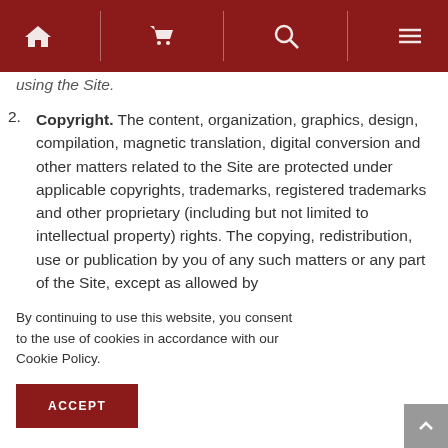Navigation bar with home, cart, search, and menu icons
using the Site.
2. Copyright. The content, organization, graphics, design, compilation, magnetic translation, digital conversion and other matters related to the Site are protected under applicable copyrights, trademarks, registered trademarks and other proprietary (including but not limited to intellectual property) rights. The copying, redistribution, use or publication by you of any such matters or any part of the Site, except as allowed by ...uire ...other ...g of ...constitute ...naterials. ...nat the ...nat you
By continuing to use this website, you consent to the use of cookies in accordance with our Cookie Policy.
ACCEPT